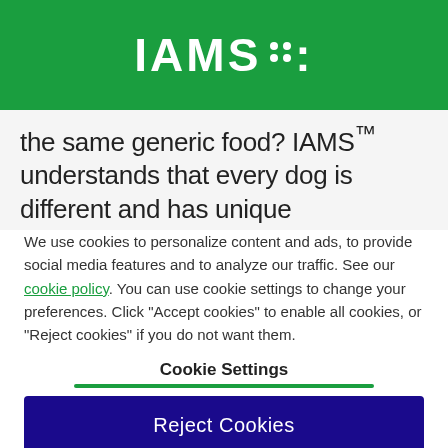IAMS
the same generic food? IAMS™ understands that every dog is different and has unique
We use cookies to personalize content and ads, to provide social media features and to analyze our traffic. See our cookie policy. You can use cookie settings to change your preferences. Click "Accept cookies" to enable all cookies, or "Reject cookies" if you do not want them.
Cookie Settings
Reject Cookies
Accept Cookies